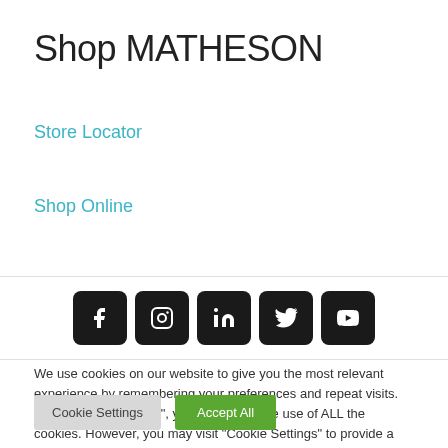Shop MATHESON
Store Locator
Shop Online
[Figure (infographic): Five social media icon buttons (Facebook, Instagram, LinkedIn, Twitter/X, YouTube) displayed as white icons on black rounded-square backgrounds in a horizontal row.]
We use cookies on our website to give you the most relevant experience by remembering your preferences and repeat visits. By clicking “Accept All”, you consent to the use of ALL the cookies. However, you may visit "Cookie Settings" to provide a controlled consent.
Cookie Settings   Accept All